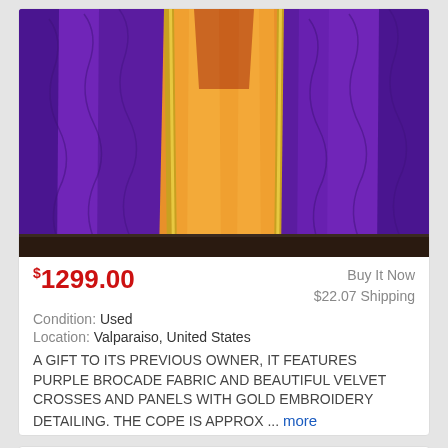[Figure (photo): Purple brocade and orange vestment cope hanging, showing purple velvet fabric panels and an orange/gold inner lining with gold embroidery trim]
$1299.00
Buy It Now
$22.07 Shipping
Condition: Used
Location: Valparaiso, United States
A GIFT TO ITS PREVIOUS OWNER, IT FEATURES PURPLE BROCADE FABRIC AND BEAUTIFUL VELVET CROSSES AND PANELS WITH GOLD EMBROIDERY DETAILING. THE COPE IS APPROX ... more
CATHOLIC VINTAGE RED & GOLD CHALICE CROSS PX CHRIST ALTAR VESTMENT &